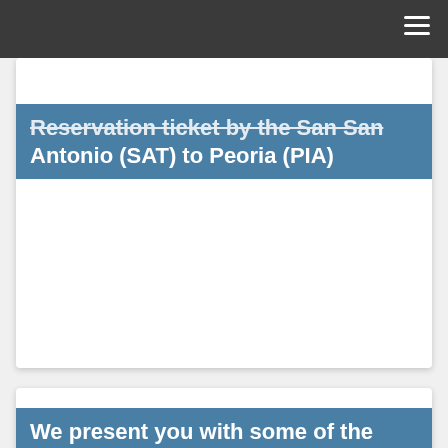≡
Reservation ticket by the San San Antonio (SAT) to Peoria (PIA)
We present you with some of the hottest deals on airfare.
Use the interactive calendar available on Expedia to see the cheapest American Airlines (San Antonio SAT - Peoria PIA) ticket prices during the weeks